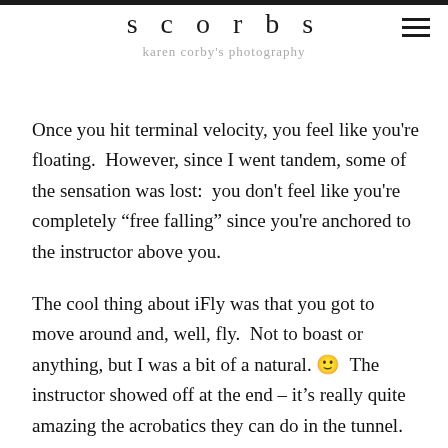scorbs
karen corby's photography
Once you hit terminal velocity, you feel like you're floating.  However, since I went tandem, some of the sensation was lost:  you don't feel like you're completely “free falling” since you're anchored to the instructor above you.
The cool thing about iFly was that you got to move around and, well, fly.  Not to boast or anything, but I was a bit of a natural. 🙂  The instructor showed off at the end – it’s really quite amazing the acrobatics they can do in the tunnel.
This next is in both the “lifu” and “world” buckets as I...